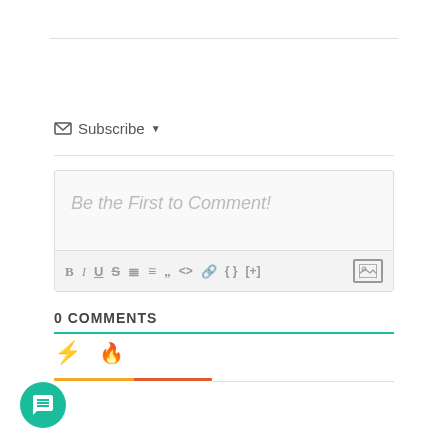Subscribe ▼
[Figure (screenshot): Comment text editor box with placeholder text 'Be the First to Comment!' and formatting toolbar with icons: B I U S ordered-list unordered-list blockquote code link {} [+] and image icon]
0 COMMENTS
[Figure (infographic): Sort icons: lightning bolt (yellow) and flame (orange-red) with colored underlines indicating sorting options for comments]
[Figure (other): Teal circular chat bubble button in bottom-left corner]